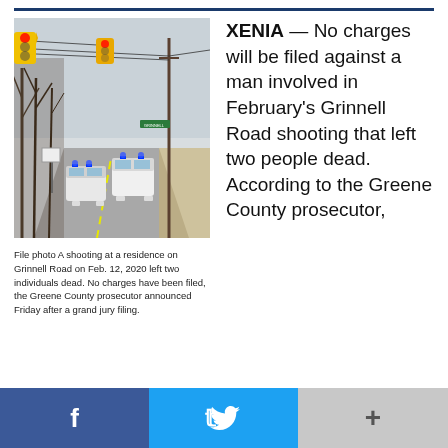[Figure (photo): File photo showing two police SUVs with flashing blue lights on a rural road, a traffic signal hanging overhead, bare winter trees on the left, a utility pole on the right, and a green street sign visible in the background. The scene is Grinnell Road.]
File photo A shooting at a residence on Grinnell Road on Feb. 12, 2020 left two individuals dead. No charges have been filed, the Greene County prosecutor announced Friday after a grand jury filing.
XENIA — No charges will be filed against a man involved in February's Grinnell Road shooting that left two people dead. According to the Greene County prosecutor,